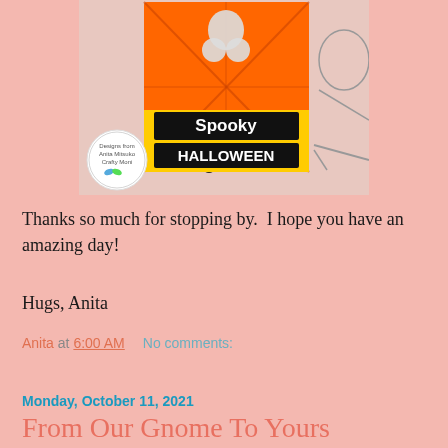[Figure (photo): Halloween card with spooky bat and ghost on orange/black background with 'Spooky HALLOWEEN' text, alongside a circular logo stamp and black-and-white Halloween illustrations]
Thanks so much for stopping by.  I hope you have an amazing day!
Hugs, Anita
Anita at 6:00 AM    No comments:
Share
Monday, October 11, 2021
From Our Gnome To Yours
Good morning friends! Today I'm sharing a slimline card...